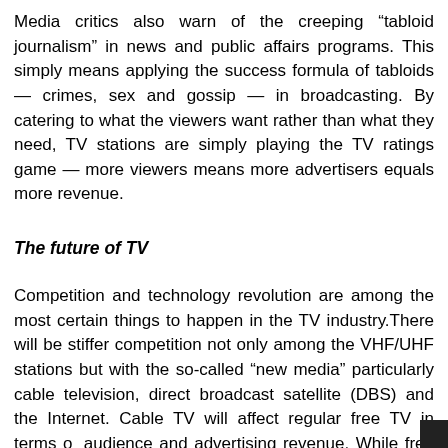Media critics also warn of the creeping “tabloid journalism” in news and public affairs programs. This simply means applying the success formula of tabloids — crimes, sex and gossip — in broadcasting. By catering to what the viewers want rather than what they need, TV stations are simply playing the TV ratings game — more viewers means more advertisers equals more revenue.
The future of TV
Competition and technology revolution are among the most certain things to happen in the TV industry.There will be stiffer competition not only among the VHF/UHF stations but with the so-called “new media” particularly cable television, direct broadcast satellite (DBS) and the Internet. Cable TV will affect regular free TV in terms of audience and advertising revenue. While free TV channels